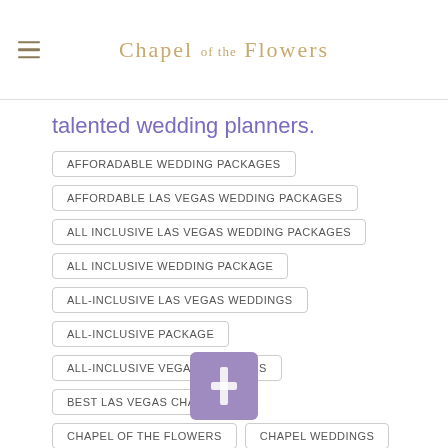Chapel of the Flowers
talented wedding planners.
AFFORADABLE WEDDING PACKAGES
AFFORDABLE LAS VEGAS WEDDING PACKAGES
ALL INCLUSIVE LAS VEGAS WEDDING PACKAGES
ALL INCLUSIVE WEDDING PACKAGE
ALL-INCLUSIVE LAS VEGAS WEDDINGS
ALL-INCLUSIVE PACKAGE
ALL-INCLUSIVE VEGAS WEDDINGS
BEST LAS VEGAS CHAPEL
CHAPEL OF THE FLOWERS
CHAPEL WEDDINGS
LAS VEGAS STRIP
LAS VEGAS WEDDING RECEPTION
LAS VEGAS WEDDING RECEPTIONS